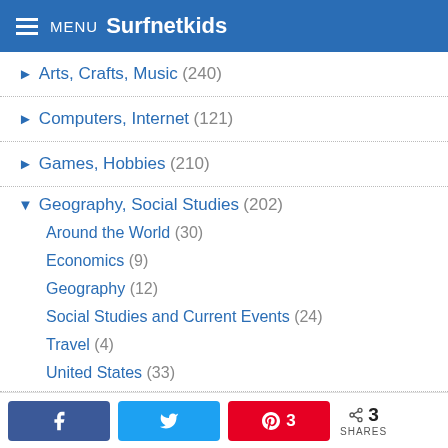MENU Surfnetkids
Arts, Crafts, Music (240)
Computers, Internet (121)
Games, Hobbies (210)
Geography, Social Studies (202)
Around the World (30)
Economics (9)
Geography (12)
Social Studies and Current Events (24)
Travel (4)
United States (33)
History, Holidays (854)
American History (135)
3 SHARES